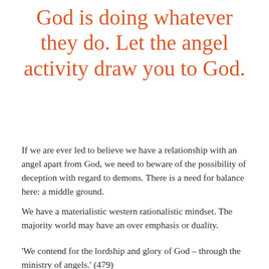God is doing whatever they do. Let the angel activity draw you to God.
If we are ever led to believe we have a relationship with an angel apart from God, we need to beware of the possibility of deception with regard to demons. There is a need for balance here: a middle ground.
We have a materialistic western rationalistic mindset. The majority world may have an over emphasis or duality.
'We contend for the lordship and glory of God – through the ministry of angels.' (479)